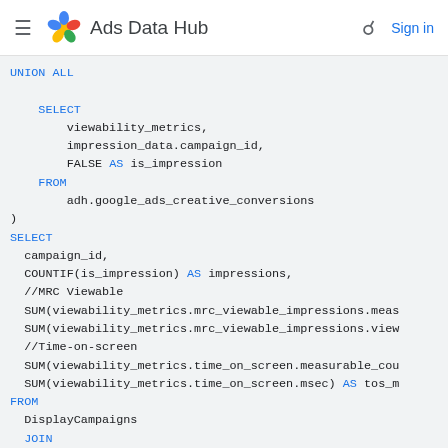≡  Ads Data Hub   🔍  Sign in
UNION ALL

    SELECT
        viewability_metrics,
        impression_data.campaign_id,
        FALSE AS is_impression
    FROM
        adh.google_ads_creative_conversions
)
SELECT
  campaign_id,
  COUNTIF(is_impression) AS impressions,
  //MRC Viewable
  SUM(viewability_metrics.mrc_viewable_impressions.meas
  SUM(viewability_metrics.mrc_viewable_impressions.view
  //Time-on-screen
  SUM(viewability_metrics.time_on_screen.measurable_cou
  SUM(viewability_metrics.time_on_screen.msec) AS tos_m
FROM
  DisplayCampaigns
JOIN